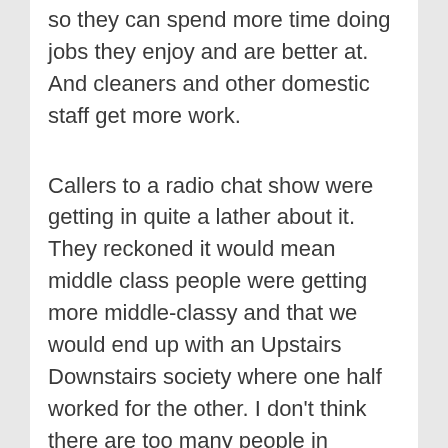so they can spend more time doing jobs they enjoy and are better at. And cleaners and other domestic staff get more work.
Callers to a radio chat show were getting in quite a lather about it. They reckoned it would mean middle class people were getting more middle-classy and that we would end up with an Upstairs Downstairs society where one half worked for the other. I don't think there are too many people in pinnies and mob caps on the streets of Stockholm.